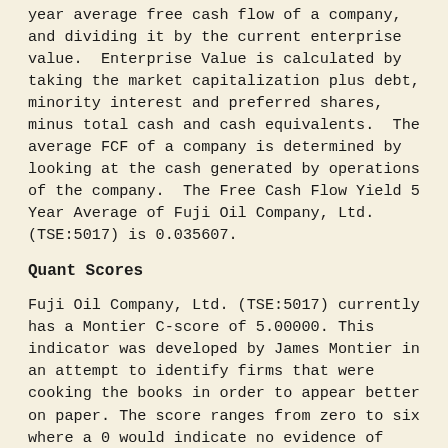year average free cash flow of a company, and dividing it by the current enterprise value. Enterprise Value is calculated by taking the market capitalization plus debt, minority interest and preferred shares, minus total cash and cash equivalents. The average FCF of a company is determined by looking at the cash generated by operations of the company. The Free Cash Flow Yield 5 Year Average of Fuji Oil Company, Ltd. (TSE:5017) is 0.035607.
Quant Scores
Fuji Oil Company, Ltd. (TSE:5017) currently has a Montier C-score of 5.00000. This indicator was developed by James Montier in an attempt to identify firms that were cooking the books in order to appear better on paper. The score ranges from zero to six where a 0 would indicate no evidence of book cooking, and a 6 would indicate a high likelihood. A C-score of -1 would indicate that there is not enough information available to calculate the score. Montier used six inputs in the calculation. These inputs